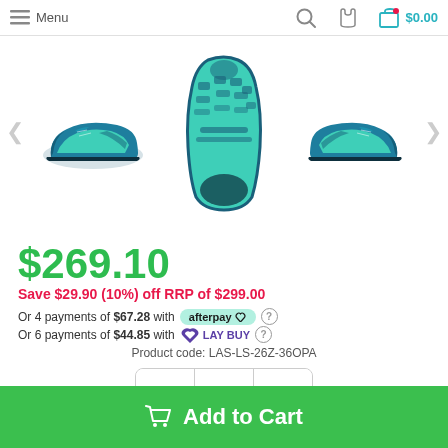Menu | Search | Phone | Cart $0.00
[Figure (photo): Three views of a teal/dark blue running shoe: left side view, bottom sole view (center), and right side view. Navigation arrows on left and right sides.]
$269.10
Save $29.90 (10%) off RRP of $299.00
Or 4 payments of $67.28 with afterpay
Or 6 payments of $44.85 with LAYBUY
Product code: LAS-LS-26Z-36OPA
- 1 +
Add to Cart